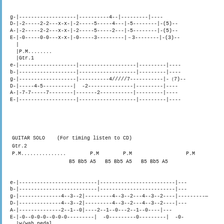guitar tablature notation showing multiple measures with string names g, D, A, E for first section and e, b, g, D, A, E for second section, followed by GUITAR SOLO text and third section
|P.M........
|Gtr.1
GUITAR SOLO    (For timing listen to CD)
Gtr.2
P.M...............        P.M        P.M                  P.M
                   B5 Bb5 A5   B5 Bb5 A5   B5 Bb5 A5
|w/wah pedal